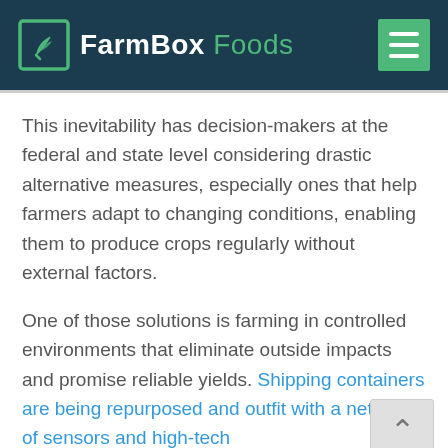FarmBox Foods
This inevitability has decision-makers at the federal and state level considering drastic alternative measures, especially ones that help farmers adapt to changing conditions, enabling them to produce crops regularly without external factors.
One of those solutions is farming in controlled environments that eliminate outside impacts and promise reliable yields. Shipping containers are being repurposed and outfit with a network of sensors and high-tech